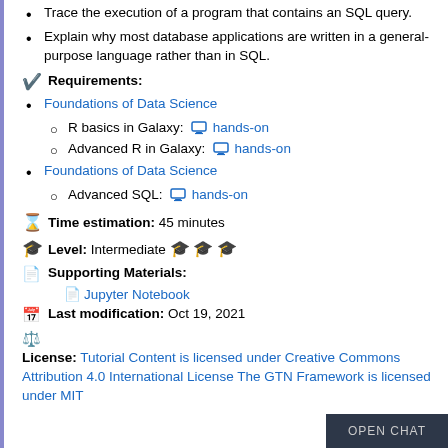Trace the execution of a program that contains an SQL query.
Explain why most database applications are written in a general-purpose language rather than in SQL.
Requirements:
Foundations of Data Science
R basics in Galaxy: hands-on
Advanced R in Galaxy: hands-on
Foundations of Data Science
Advanced SQL: hands-on
Time estimation: 45 minutes
Level: Intermediate
Supporting Materials:
Jupyter Notebook
Last modification: Oct 19, 2021
License: Tutorial Content is licensed under Creative Commons Attribution 4.0 International License The GTN Framework is licensed under MIT